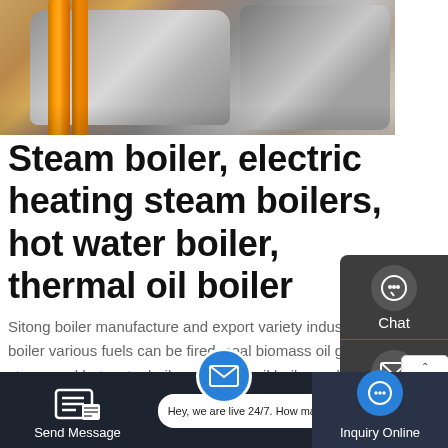[Figure (photo): Industrial boiler equipment photo showing large metallic steam boilers with orange pipes/supports in a manufacturing facility]
Steam boiler, electric heating steam boilers, hot water boiler, thermal oil boiler
Sitong boiler manufacture and export variety industrial boiler various fuels can be fired, coal biomass oil gas steam and hot water boilers, thermal oil boiler and electric steam
[Figure (other): Side panel with Chat, Email, and Contact icons on dark grey background]
[Figure (other): Get a Quote button in amber/yellow color]
Send Message | Hey, we are live 24/7. How may I help you? | Inquiry Online